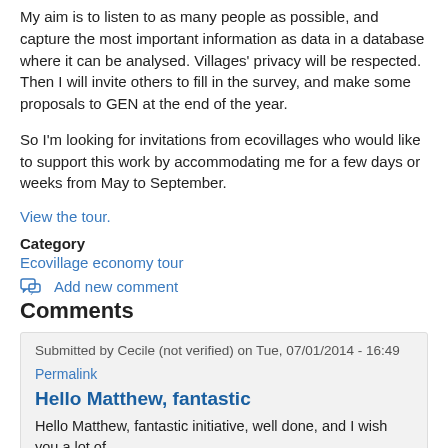My aim is to listen to as many people as possible, and capture the most important information as data in a database where it can be analysed. Villages' privacy will be respected. Then I will invite others to fill in the survey, and make some proposals to GEN at the end of the year.
So I'm looking for invitations from ecovillages who would like to support this work by accommodating me for a few days or weeks from May to September.
View the tour.
Category
Ecovillage economy tour
Add new comment
Comments
Submitted by Cecile (not verified) on Tue, 07/01/2014 - 16:49
Permalink
Hello Matthew, fantastic
Hello Matthew, fantastic initiative, well done, and I wish you a lot of